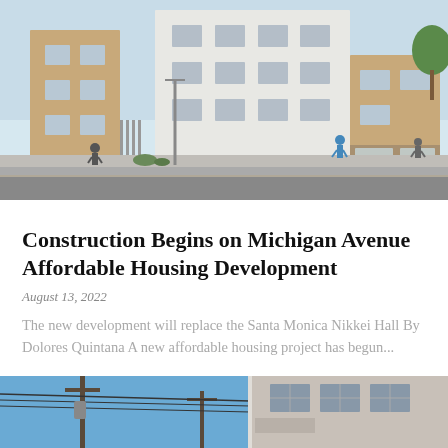[Figure (photo): Architectural rendering of a multi-story modern affordable housing development building with light tan brick and white facade, showing pedestrians on the street]
Construction Begins on Michigan Avenue Affordable Housing Development
August 13, 2022
The new development will replace the Santa Monica Nikkei Hall By Dolores Quintana A new affordable housing project has begun...
[Figure (photo): Partial view of a street scene with utility poles and wires against blue sky, and a building facade on the right side]